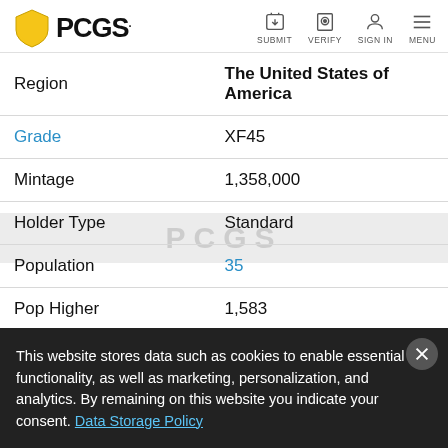PCGS - SUBMIT VERIFY SIGN IN MENU
| Field | Value |
| --- | --- |
| Region | The United States of America |
| Grade | XF45 |
| Mintage | 1,358,000 |
| Holder Type | Standard |
| Population | 35 |
| Pop Higher | 1,583 |
| PCGS Price Guide℠ Value | $85 ▲ |
This website stores data such as cookies to enable essential site functionality, as well as marketing, personalization, and analytics. By remaining on this website you indicate your consent. Data Storage Policy